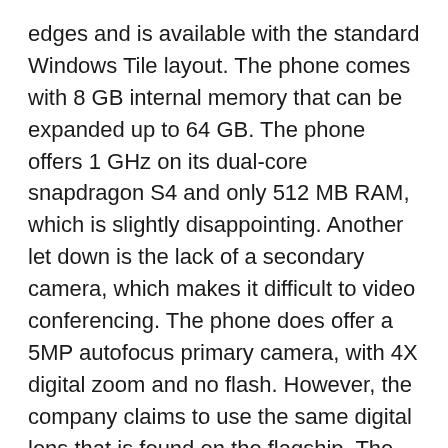edges and is available with the standard Windows Tile layout. The phone comes with 8 GB internal memory that can be expanded up to 64 GB. The phone offers 1 GHz on its dual-core snapdragon S4 and only 512 MB RAM, which is slightly disappointing. Another let down is the lack of a secondary camera, which makes it difficult to video conferencing. The phone does offer a 5MP autofocus primary camera, with 4X digital zoom and no flash. However, the company claims to use the same digital lens that is found on the flagship. The camera offers features such as Landscape orientation, Auto and manual exposure, Auto and manual white balance, Cinemagraph lens and Smart Shoot lens. The smart shoot lens allows the user to change individual objects in the photo and replace them with objects from the other photos. For example: incase the user is taking photos of two people; however, he does not like the expression of one person in the photo, they can swap the face for another face from